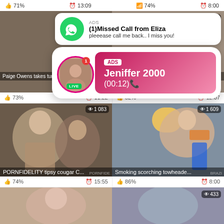71%  13:09  74%  8:00
[Figure (screenshot): Ad notification popup showing WhatsApp-style missed call from Eliza with green phone icon]
[Figure (screenshot): Second ad popup showing LIVE avatar of Jeniffer 2000 with timer (00:12)]
[Figure (screenshot): Video thumbnail: Paige Owens takes turns fava... 73% rating, duration 11:22, 295 views]
[Figure (screenshot): Video thumbnail: pervy Parents watch step bro... 82% rating, duration 12:07]
[Figure (screenshot): Video thumbnail: PORNFIDELITY tipsy cougar C... 74% rating, duration 15:55, 1 083 views]
[Figure (screenshot): Video thumbnail: Smoking scorching towheade... 86% rating, duration 8:00, 1 609 views]